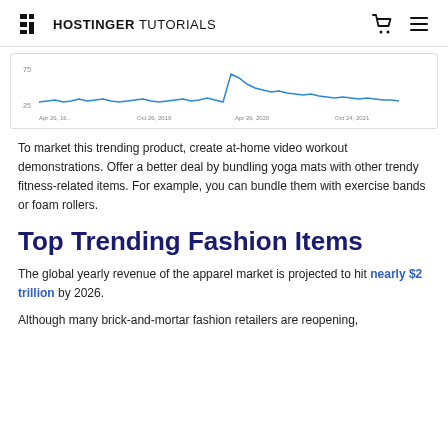HOSTINGER TUTORIALS
[Figure (line-chart): A line chart showing search interest over time (approximately 2016 to 2021) for a trending product. The line is blue, mostly flat with a notable spike around Apr 2020, then elevated and gradually declining. X-axis labels: Apr 26, 16..., Oct 26, 2019, Apr 26, 2020, Oct 24, 2021. Y-axis has small numeric labels around 25 and 50.]
To market this trending product, create at-home video workout demonstrations. Offer a better deal by bundling yoga mats with other trendy fitness-related items. For example, you can bundle them with exercise bands or foam rollers.
Top Trending Fashion Items
The global yearly revenue of the apparel market is projected to hit nearly $2 trillion by 2026.
Although many brick-and-mortar fashion retailers are reopening,